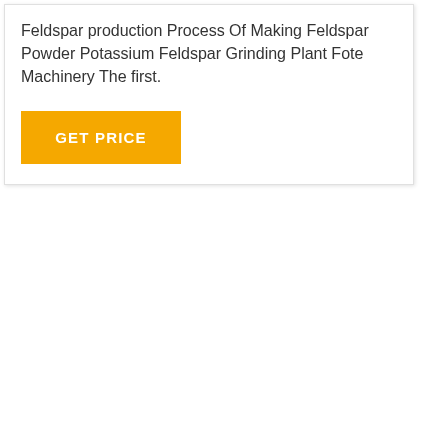Feldspar production Process Of Making Feldspar Powder Potassium Feldspar Grinding Plant Fote Machinery The first.
GET PRICE